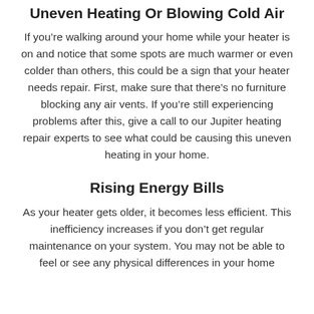Uneven Heating Or Blowing Cold Air
If you’re walking around your home while your heater is on and notice that some spots are much warmer or even colder than others, this could be a sign that your heater needs repair. First, make sure that there’s no furniture blocking any air vents. If you’re still experiencing problems after this, give a call to our Jupiter heating repair experts to see what could be causing this uneven heating in your home.
Rising Energy Bills
As your heater gets older, it becomes less efficient. This inefficiency increases if you don’t get regular maintenance on your system. You may not be able to feel or see any physical differences in your home